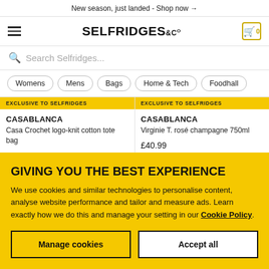New season, just landed - Shop now →
[Figure (logo): Selfridges & Co logo with hamburger menu and cart icon]
Search Selfridges...
Womens
Mens
Bags
Home & Tech
Foodhall
EXCLUSIVE TO SELFRIDGES
CASABLANCA
Casa Crochet logo-knit cotton tote bag
£280.00
EXCLUSIVE TO SELFRIDGES
CASABLANCA
Virginie T. rosé champagne 750ml
£40.99
GIVING YOU THE BEST EXPERIENCE
We use cookies and similar technologies to personalise content, analyse website performance and tailor and measure ads. Learn exactly how we do this and manage your setting in our Cookie Policy.
Manage cookies
Accept all